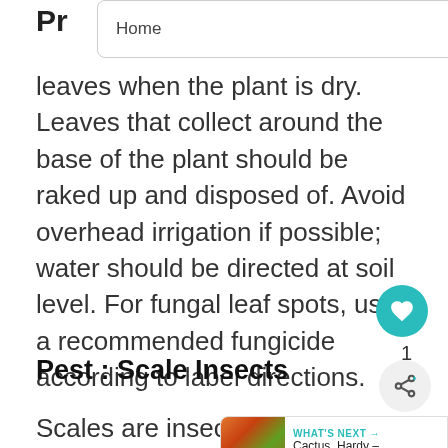Home
Pr…
leaves when the plant is dry. Leaves that collect around the base of the plant should be raked up and disposed of. Avoid overhead irrigation if possible; water should be directed at soil level. For fungal leaf spots, use a recommended fungicide according to label directions.
Pest : Scale Insects
Scales are insects, related to mealy… can be a problem on a wide variety of plants - indoor and outdoor. Young scales crawl until